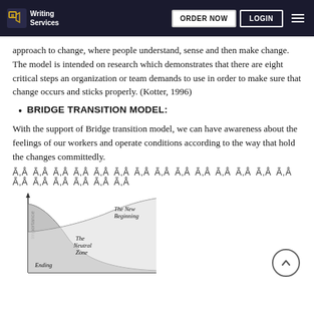Writing Services | ORDER NOW | LOGIN
approach to change, where people understand, sense and then make change. The model is intended on research which demonstrates that there are eight critical steps an organization or team demands to use in order to make sure that change occurs and sticks properly. (Kotter, 1996)
BRIDGE TRANSITION MODEL:
With the support of Bridge transition model, we can have awareness about the feelings of our workers and operate conditions according to the way that hold the changes committedly.
Ã‚Â Ã‚Â Ã‚Â Ã‚Â Ã‚Â Ã‚Â Ã‚Â Ã‚Â Ã‚Â Ã‚Â Ã‚Â Ã‚Â Ã‚Â Ã‚Â Ã‚Â Ã‚Â Ã‚Â Ã‚Â Ã‚Â Ã‚Â
[Figure (other): Bridge Transition Model diagram showing a curve with three zones: Ending (bottom left), The Neutral Zone (middle), and The New Beginning (upper right). The y-axis is labeled Importance.]